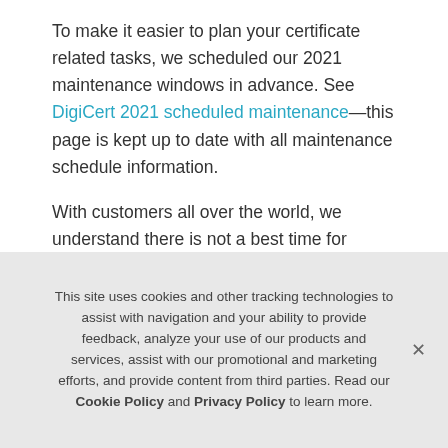To make it easier to plan your certificate related tasks, we scheduled our 2021 maintenance windows in advance. See DigiCert 2021 scheduled maintenance—this page is kept up to date with all maintenance schedule information.

With customers all over the world, we understand there is not a best time for everyone. However, after reviewing the
This site uses cookies and other tracking technologies to assist with navigation and your ability to provide feedback, analyze your use of our products and services, assist with our promotional and marketing efforts, and provide content from third parties. Read our Cookie Policy and Privacy Policy to learn more.